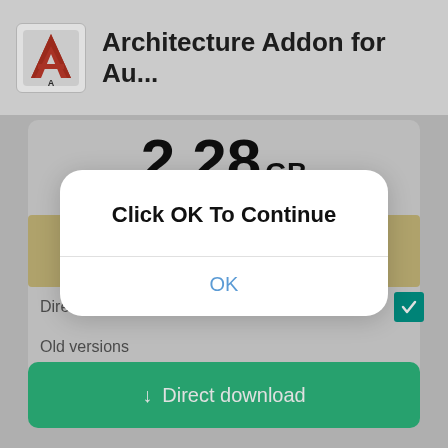[Figure (screenshot): App store or download page screenshot showing Architecture Addon for Au... with AutoCAD-style logo, 2.28 GB size, Direct download button, and a modal dialog overlay saying Click OK To Continue with an OK button.]
Architecture Addon for Au...
2.28 GB
Direct link
Old versions
Click OK To Continue
OK
↓  Direct download